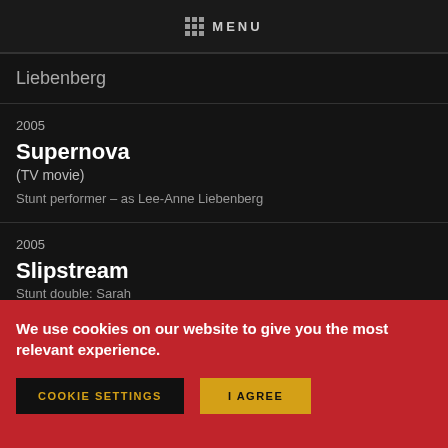MENU
Liebenberg
2005
Supernova
(TV movie)
Stunt performer – as Lee-Anne Liebenberg
2005
Slipstream
Stunt double: Sarah
We use cookies on our website to give you the most relevant experience.